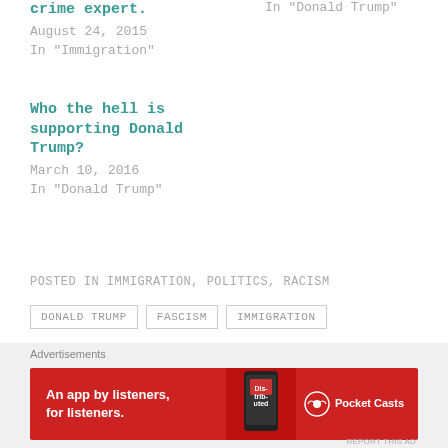crime expert.
August 24, 2015
In "Immigration"
In "Donald Trump"
Who the hell is supporting Donald Trump?
March 10, 2016
In "Donald Trump"
POSTED IN IMMIGRATION, POLITICS, RACISM
DONALD TRUMP
FASCISM
IMMIGRATION
RACISM
Advertisements
[Figure (other): Pocket Casts advertisement banner: red background with text 'An app by listeners, for listeners.' and Pocket Casts logo]